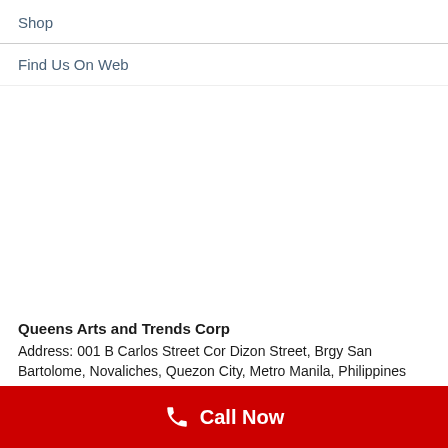Shop
Find Us On Web
Queens Arts and Trends Corp
Address: 001 B Carlos Street Cor Dizon Street, Brgy San Bartolome, Novaliches, Quezon City, Metro Manila, Philippines
Landline:
0997740544 / 0997040504 / 0997040500 / 0997040507
Call Now